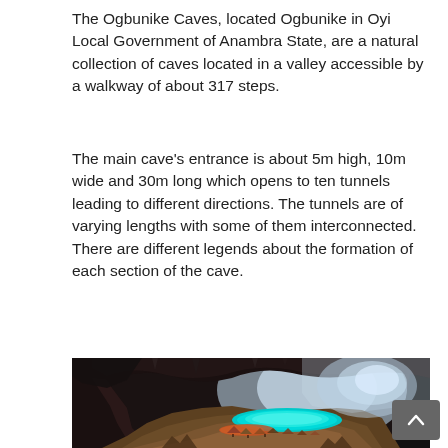The Ogbunike Caves, located Ogbunike in Oyi Local Government of Anambra State, are a natural collection of caves located in a valley accessible by a walkway of about 317 steps.
The main cave's entrance is about 5m high, 10m wide and 30m long which opens to ten tunnels leading to different directions. The tunnels are of varying lengths with some of them interconnected. There are different legends about the formation of each section of the cave.
[Figure (photo): Interior of a large cave showing a turquoise-colored underground lake or pool with camping tents and people visible on a sandy floor. Light streams in from an opening at the far end of the cave, illuminating the stalactite-covered ceiling and rocky walls.]